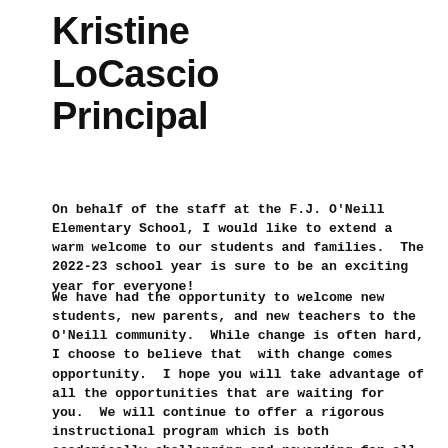Kristine LoCascio Principal
On behalf of the staff at the F.J. O'Neill Elementary School, I would like to extend a warm welcome to our students and families.  The 2022-23 school year is sure to be an exciting year for everyone!
We have had the opportunity to welcome new students, new parents, and new teachers to the O'Neill community.  While change is often hard, I choose to believe that with change comes opportunity.  I hope you will take advantage of all the opportunities that are waiting for you.  We will continue to offer a rigorous instructional program which is both academically challenging and rewarding for all students.